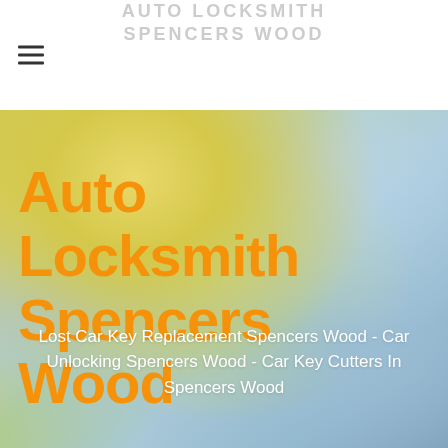AUTO LOCKSMITH SPENCERS WOOD
Auto Locksmith Spencers Wood
Lost Car Key Replacement Spencers Wood - Car Unlocking Spencers Wood - Car Key Cutters In Spencers Wood